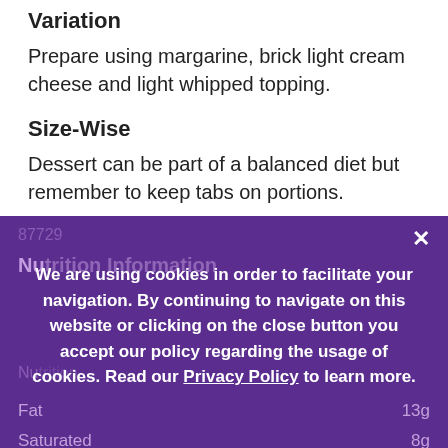Variation
Prepare using margarine, brick light cream cheese and light whipped topping.
Size-Wise
Dessert can be part of a balanced diet but remember to keep tabs on portions.
87729
×
Nutrition Information
We are using cookies in order to facilitate your navigation. By continuing to navigate on this website or clicking on the close button you accept our policy regarding the usage of cookies. Read our Privacy Policy to learn more.
Nutrition...
Fat   13g
Saturated   8g
Cholesterol   5g